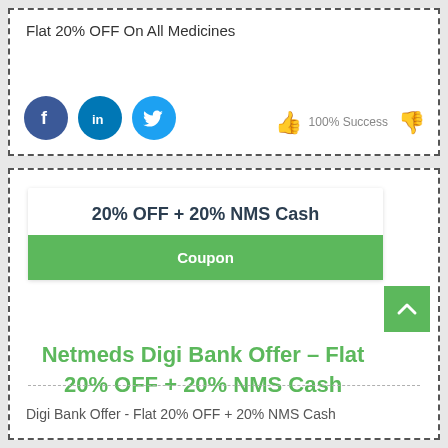Flat 20% OFF On All Medicines
[Figure (infographic): Social share icons: Facebook (blue circle), LinkedIn (blue circle), Twitter (light blue circle); thumbs up green icon, 100% Success text, thumbs down red icon]
20% OFF + 20% NMS Cash
Coupon
Netmeds Digi Bank Offer – Flat 20% OFF + 20% NMS Cash
[Figure (infographic): SHOW CODE button with diagonal stripe pattern]
Digi Bank Offer - Flat 20% OFF + 20% NMS Cash